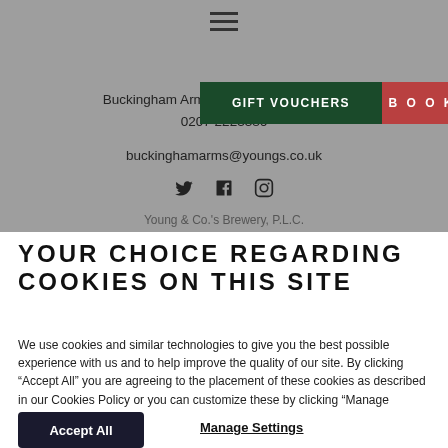[Figure (screenshot): Website header with hamburger menu, GIFT VOUCHERS and BOOK buttons, address, phone, email, and social icons on a gray background]
Buckingham Arms, 62 Petty France, W...
0207 2223386
buckinghamarms@youngs.co.uk
Young & Co.'s Brewery, P.L.C.
YOUR CHOICE REGARDING COOKIES ON THIS SITE
We use cookies and similar technologies to give you the best possible experience with us and to help improve the quality of our site. By clicking “Accept All” you are agreeing to the placement of these cookies as described in our Cookies Policy or you can customize these by clicking “Manage Settings”.
Accept All
Manage Settings